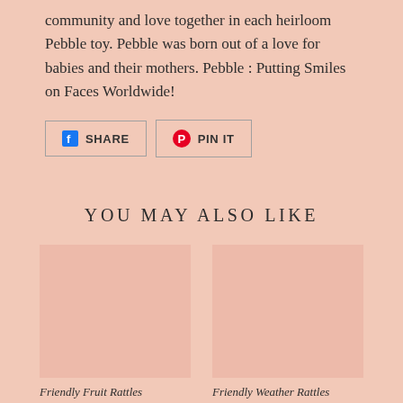community and love together in each heirloom Pebble toy. Pebble was born out of a love for babies and their mothers. Pebble : Putting Smiles on Faces Worldwide!
[Figure (other): Social share buttons: Facebook SHARE button and Pinterest PIN IT button, both outlined with border]
YOU MAY ALSO LIKE
[Figure (photo): Placeholder product image for Friendly Fruit Rattles, salmon/peach colored rectangle]
Friendly Fruit Rattles
[Figure (photo): Placeholder product image for Friendly Weather Rattles, salmon/peach colored rectangle]
Friendly Weather Rattles